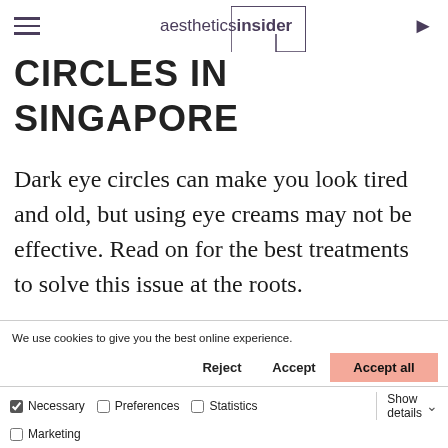aestheticsinsider
CIRCLES IN SINGAPORE
Dark eye circles can make you look tired and old, but using eye creams may not be effective. Read on for the best treatments to solve this issue at the roots.
We use cookies to give you the best online experience.
|  | Reject | Accept | Accept all |
| --- | --- | --- | --- |
| Necessary  Preferences  Statistics  Marketing |  |  | Show details |